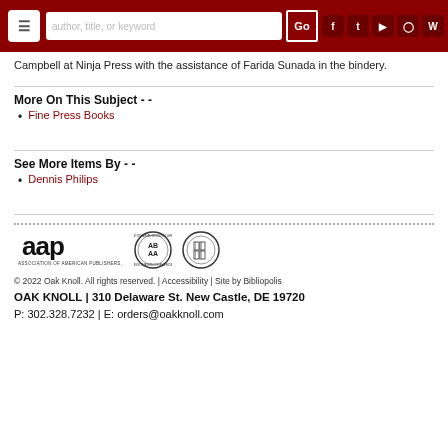author, title, or keyword | Go | social icons
Campbell at Ninja Press with the assistance of Farida Sunada in the bindery.
More On This Subject - -
Fine Press Books
See More Items By - -
Dennis Philips
[Figure (logo): AAP Association of American Publishers Inc. logo, ABAA circular seal logo, ILAB circular book-grid logo]
© 2022 Oak Knoll. All rights reserved. | Accessibility | Site by Bibliopolis
OAK KNOLL | 310 Delaware St. New Castle, DE 19720
P: 302.328.7232 | E: orders@oakknoll.com